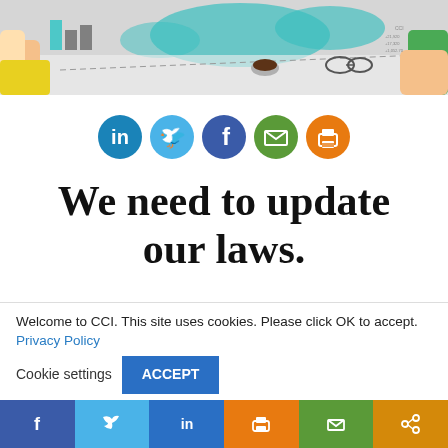[Figure (photo): Hero image showing people around a table with charts and a world map, business meeting setting]
[Figure (infographic): Social sharing icons row: LinkedIn (blue), Twitter (light blue), Facebook (dark blue), Email (green), Print (orange)]
We need to update our laws.
Welcome to CCI. This site uses cookies. Please click OK to accept. Privacy Policy
Cookie settings | ACCEPT